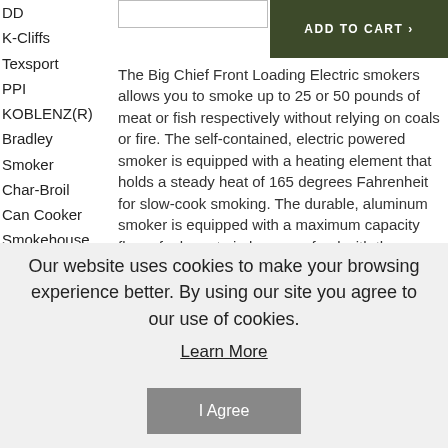DD
K-Cliffs
Texsport
PPI
KOBLENZ(R)
Bradley
Smoker
Char-Broil
Can Cooker
Smokehouse
Products
King Kooker
Lodge Cast
Iron
Eastman
[Figure (screenshot): ADD TO CART button in dark olive green]
The Big Chief Front Loading Electric smokers allows you to smoke up to 25 or 50 pounds of meat or fish respectively without relying on coals or fire. The self-contained, electric powered smoker is equipped with a heating element that holds a steady heat of 165 degrees Fahrenheit for slow-cook smoking. The durable, aluminum smoker is equipped with a maximum capacity flavor fuel pan to imbue your food with the smoked flavor you choose and is vented for proper dehydration. The easy-slide chrome
Our website uses cookies to make your browsing experience better. By using our site you agree to our use of cookies.
Learn More
I Agree